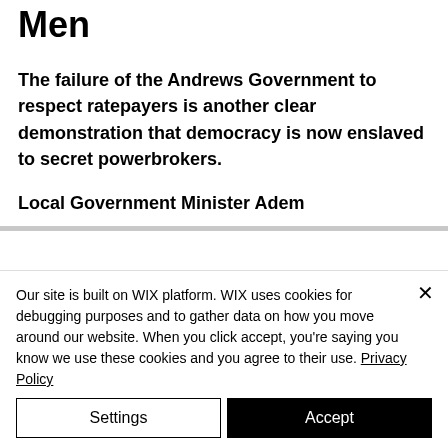Men
The failure of the Andrews Government to respect ratepayers is another clear demonstration that democracy is now enslaved to secret powerbrokers.
Local Government Minister Adem
Our site is built on WIX platform. WIX uses cookies for debugging purposes and to gather data on how you move around our website. When you click accept, you're saying you know we use these cookies and you agree to their use. Privacy Policy
Settings
Accept